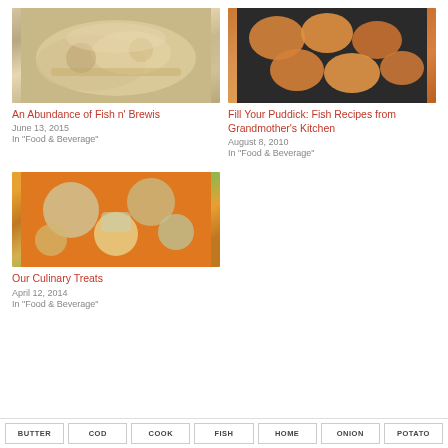[Figure (photo): Food photo showing fish n' brewis dish on a plate]
An Abundance of Fish n' Brewis
June 13, 2015
In "Food & Beverage"
[Figure (photo): Food photo showing fried fish cakes in a cast iron pan]
Fill Your Puddick: Fish Recipes from Grandmother's Kitchen
August 8, 2010
In "Food & Beverage"
[Figure (photo): Food photo showing bowls of culinary treats on orange tablecloth]
Our Culinary Treats
April 12, 2014
In "Food & Beverage"
BUTTER
COD
COOK
FISH
HOME
ONION
POTATO